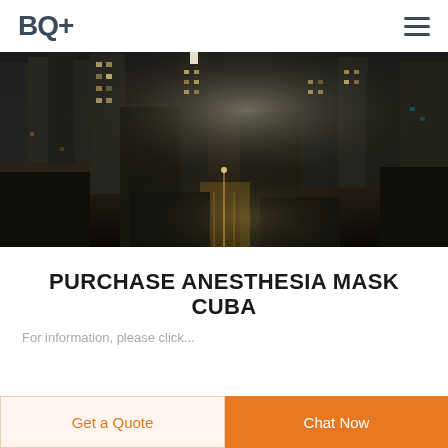BQ+
[Figure (photo): Aerial night view of a city skyline with illuminated skyscrapers and streets, high-contrast dark toned cityscape photography]
PURCHASE ANESTHESIA MASK CUBA
For information, please click...
Get a Quote
Chat Now